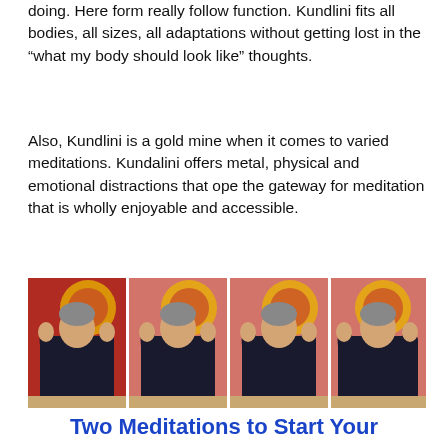doing. Here form really follow function. Kundlini fits all bodies, all sizes, all adaptations without getting lost in the “what my body should look like” thoughts.
Also, Kundlini is a gold mine when it comes to varied meditations. Kundalini offers metal, physical and emotional distractions that ope the gateway for meditation that is wholly enjoyable and accessible.
[Figure (photo): Four side-by-side frames showing a person dressed in black doing a Kundalini yoga hand gesture, seated in front of a red and gold decorative backdrop.]
Two Meditations to Start Your